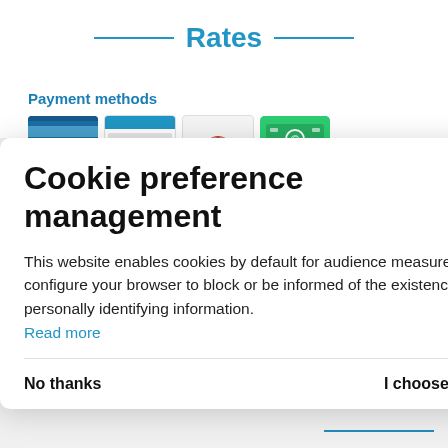Rates
Payment methods
[Figure (screenshot): Four payment method logos: credit card, euro cheque, ancv voucher, creative commons cash]
Cookie preference management
This website enables cookies by default for audience measurement tools and anonymous features. You can configure your browser to block or be informed of the existence of these cookies. These cookies do not store any personally identifying information.
Read more
No thanks
I choose
Ok for me